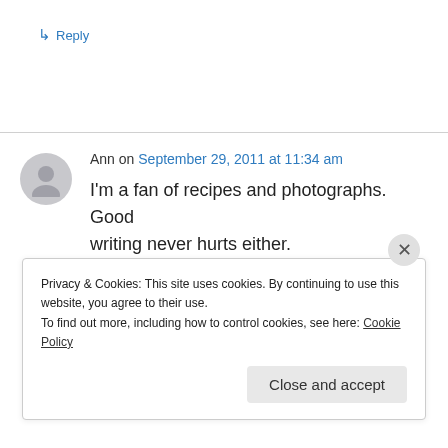↳ Reply
Ann on September 29, 2011 at 11:34 am
I'm a fan of recipes and photographs. Good writing never hurts either.
★ Like
Privacy & Cookies: This site uses cookies. By continuing to use this website, you agree to their use.
To find out more, including how to control cookies, see here: Cookie Policy
Close and accept